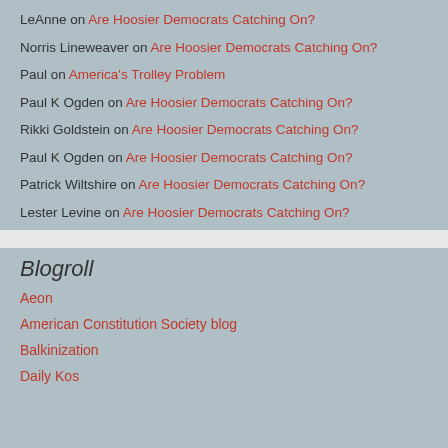LeAnne on Are Hoosier Democrats Catching On?
Norris Lineweaver on Are Hoosier Democrats Catching On?
Paul on America's Trolley Problem
Paul K Ogden on Are Hoosier Democrats Catching On?
Rikki Goldstein on Are Hoosier Democrats Catching On?
Paul K Ogden on Are Hoosier Democrats Catching On?
Patrick Wiltshire on Are Hoosier Democrats Catching On?
Lester Levine on Are Hoosier Democrats Catching On?
Blogroll
Aeon
American Constitution Society blog
Balkinization
Daily Kos